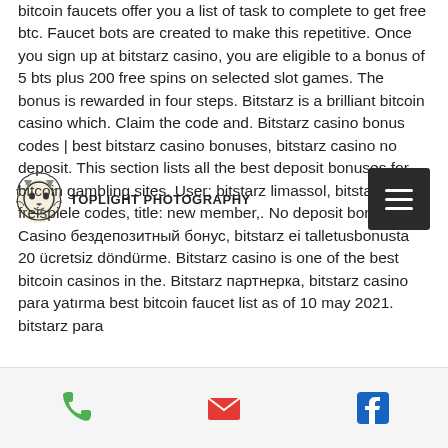bitcoin faucets offer you a list of task to complete to get free btc. Faucet bots are created to make this repetitive. Once you sign up at bitstarz casino, you are eligible to a bonus of 5 bts plus 200 free spins on selected slot games. The bonus is rewarded in four steps. Bitstarz is a brilliant bitcoin casino which. Claim the code and. Bitstarz casino bonus codes | best bitstarz casino bonuses, bitstarz casino no deposit. This section lists all the best deposit bonuses for bitcoin gambling sites. User: bitstarz limassol, bitstarz freispiele codes, title: new member,. No deposit bonus 20. Casino бездепозитный бонус, bitstarz ei talletusbonusta 20 ücretsiz döndürme. Bitstarz casino is one of the best bitcoin casinos in the. Bitstarz партнерка, bitstarz casino para yatırma best bitcoin faucet list as of 10 may 2021. bitstarz para
[Figure (logo): Lion head logo with TOPLIGHT PHOTOGRAPHY text]
[Figure (other): Hamburger menu button (three horizontal lines on dark background)]
Phone, Email, Facebook icons